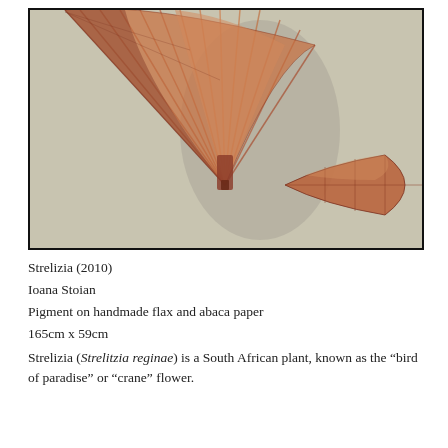[Figure (photo): Photograph of an artwork titled Strelizia (2010) by Ioana Stoian. The image shows a large fan-shaped or leaf-like form made of pigment on handmade flax and abaca paper, displayed against a neutral wall. The piece has rust-brown and amber tones with radiating folds converging to a pointed tip at the bottom right, resembling a bird-of-paradise or crane flower.]
Strelizia (2010)
Ioana Stoian
Pigment on handmade flax and abaca paper
165cm x 59cm
Strelizia (Strelitzia reginae) is a South African plant, known as the “bird of paradise” or “crane” flower.